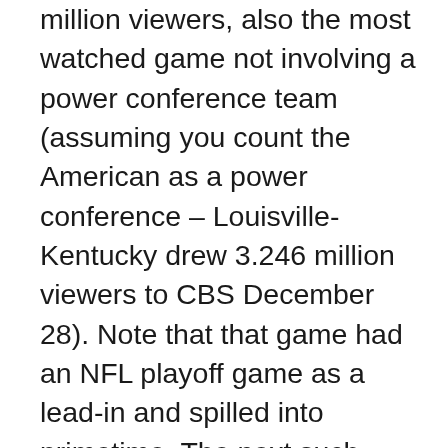million viewers, also the most watched game not involving a power conference team (assuming you count the American as a power conference – Louisville-Kentucky drew 3.246 million viewers to CBS December 28). Note that that game had an NFL playoff game as a lead-in and spilled into primetime. The next such games were Michigan-Ohio State in a Big Ten semifinal, which drew 2.471 million viewers to CBS March 15, and Syracuse-Virginia, which drew 2.45 million viewers to ESPN March 1. The most watched game on ESPN not to involve Duke, either Michigan team, Kentucky, or Syracuse was Kansas-Texas February 1, which drew 1.924 million viewers. The most-watched non-CBS game I don't have 18-49 numbers for is Kansas State-Kansas January 11, which drew